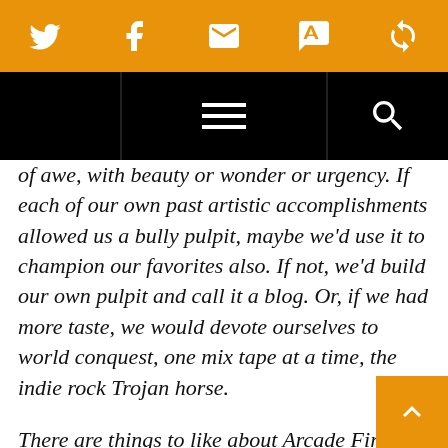[Figure (screenshot): Orange social sharing bar with Twitter, Facebook, email, SMS, and refresh/share icons in white]
[Figure (screenshot): Black navigation bar with hamburger menu icon in center and search icon on right]
of awe, with beauty or wonder or urgency. If each of our own past artistic accomplishments allowed us a bully pulpit, maybe we’d use it to champion our favorites also. If not, we’d build our own pulpit and call it a blog. Or, if we had more taste, we would devote ourselves to world conquest, one mix tape at a time, the indie rock Trojan horse.

There are things to like about Arcade Fire. Independent, communal, original: Arcade Fire returned popular music to its roots — life-affirming